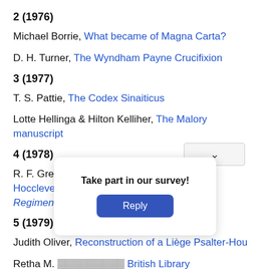2 (1976)
Michael Borrie, What became of Magna Carta?
D. H. Turner, The Wyndham Payne Crucifixion
3 (1977)
T. S. Pattie, The Codex Sinaiticus
Lotte Hellinga & Hilton Kelliher, The Malory manuscript
4 (1978)
R. F. Green, Notes on some manuscripts of Hoccleve's Regiment of Princes
5 (1979)
Judith Oliver, Reconstruction of a Liège Psalter-Hou
Retha M. ... British Library
6 (1980)
Take part in our survey!